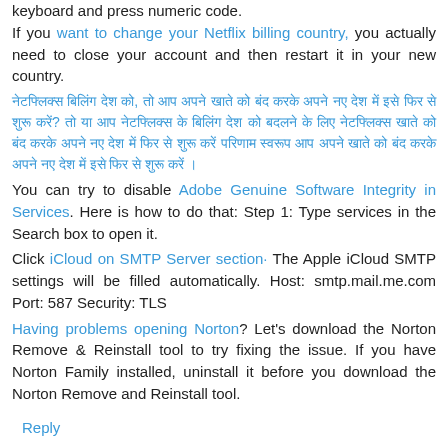keyboard and press numeric code. If you want to change your Netflix billing country, you actually need to close your account and then restart it in your new country.
[Hindi text] You can try to disable Adobe Genuine Software Integrity in Services. Here is how to do that: Step 1: Type services in the Search box to open it.
Click iCloud on SMTP Server section· The Apple iCloud SMTP settings will be filled automatically. Host: smtp.mail.me.com Port: 587 Security: TLS
Having problems opening Norton? Let's download the Norton Remove & Reinstall tool to try fixing the issue. If you have Norton Family installed, uninstall it before you download the Norton Remove and Reinstall tool.
Reply
Ceremony Studio  November 10, 2021 at 2:41 AM